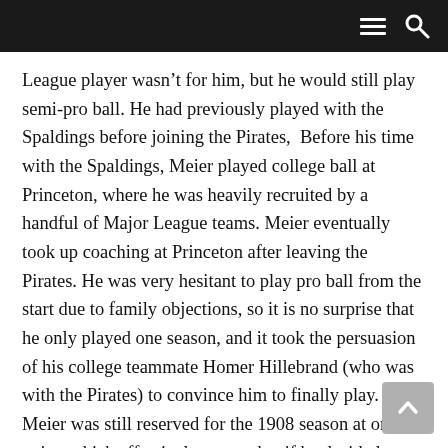≡ 🔍
League player wasn't for him, but he would still play semi-pro ball. He had previously played with the Spaldings before joining the Pirates,  Before his time with the Spaldings, Meier played college ball at Princeton, where he was heavily recruited by a handful of Major League teams. Meier eventually took up coaching at Princeton after leaving the Pirates. He was very hesitant to play pro ball from the start due to family objections, so it is no surprise that he only played one season, and it took the persuasion of his college teammate Homer Hillebrand (who was with the Pirates) to convince him to finally play. Meier was still reserved for the 1908 season at one point, which effectively meant that if he decided to return to pro ball, he was still property of the Pirates.